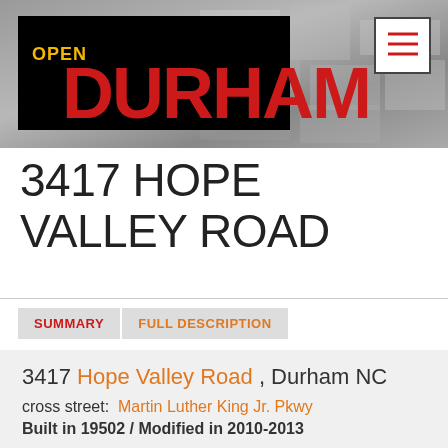[Figure (logo): Open Durham logo — black rectangle with 'OPEN' in yellow and 'DURHAM' in large red bold text]
3417 HOPE VALLEY ROAD
SUMMARY   FULL DESCRIPTION
3417 Hope Valley Road , Durham NC
cross street:  Martin Luther King Jr. Pkwy
Built in 19502 / Modified in 2010-2013